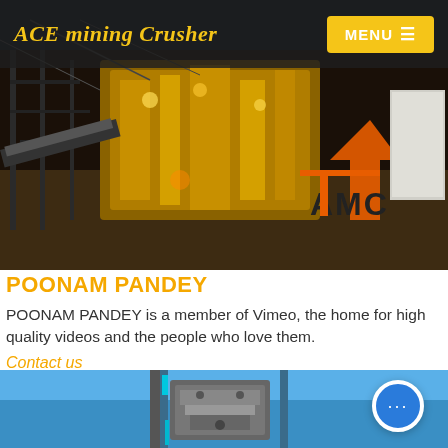ACE mining Crusher  MENU
[Figure (photo): Aerial view of a large industrial mining crusher facility at night with yellow machinery, scaffolding, conveyor belts, and an AMC logo visible in the lower right.]
POONAM PANDEY
POONAM PANDEY is a member of Vimeo, the home for high quality videos and the people who love them.
Contact us
[Figure (photo): A mining crusher machine photographed from below against a clear blue sky, showing the metal structure and mechanical components of the crusher.]